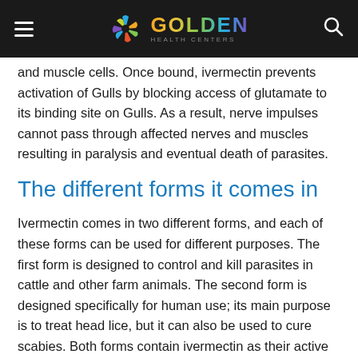GOLDEN HEALTH CENTERS
and muscle cells. Once bound, ivermectin prevents activation of Gulls by blocking access of glutamate to its binding site on Gulls. As a result, nerve impulses cannot pass through affected nerves and muscles resulting in paralysis and eventual death of parasites.
The different forms it comes in
Ivermectin comes in two different forms, and each of these forms can be used for different purposes. The first form is designed to control and kill parasites in cattle and other farm animals. The second form is designed specifically for human use; its main purpose is to treat head lice, but it can also be used to cure scabies. Both forms contain ivermectin as their active ingredient, so they both serve very similar purposes;